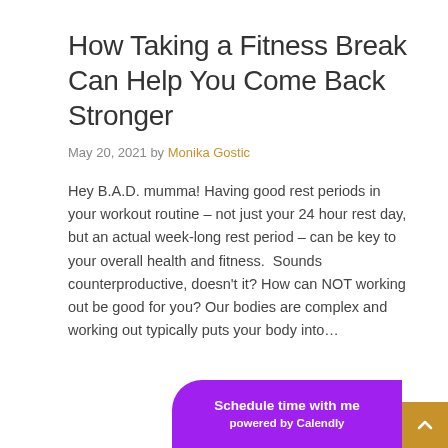How Taking a Fitness Break Can Help You Come Back Stronger
May 20, 2021 by Monika Gostic
Hey B.A.D. mumma! Having good rest periods in your workout routine – not just your 24 hour rest day, but an actual week-long rest period – can be key to your overall health and fitness.  Sounds counterproductive, doesn't it? How can NOT working out be good for you? Our bodies are complex and working out typically puts your body into…
Read more
Schedule time with me powered by Calendly